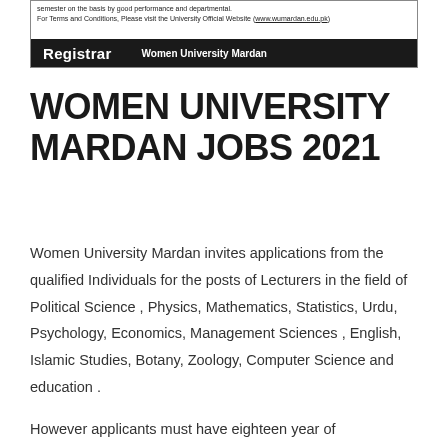semester on the basis by good performance and departmental. For Terms and Conditions, Please visit the University Official Website (www.wumardan.edu.pk)
Registrar    Women University Mardan
WOMEN UNIVERSITY MARDAN JOBS 2021
Women University Mardan invites applications from the qualified Individuals for the posts of Lecturers in the field of Political Science , Physics, Mathematics, Statistics, Urdu, Psychology, Economics, Management Sciences , English, Islamic Studies, Botany, Zoology, Computer Science and education .
However applicants must have eighteen year of